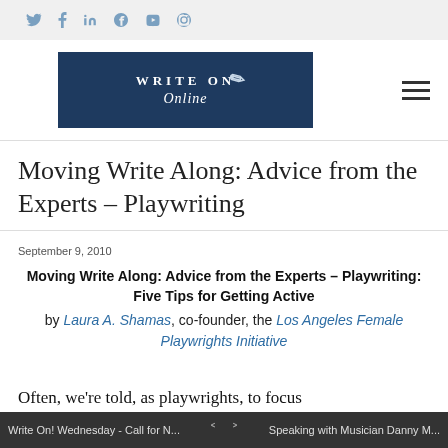Social media icons: Twitter, Facebook, LinkedIn, Google+, YouTube, Pinterest, Instagram
[Figure (logo): Write On Online logo — dark navy blue banner with white text 'WRITE ON Online' in serif font with a pen icon]
Moving Write Along: Advice from the Experts – Playwriting
September 9, 2010
Moving Write Along: Advice from the Experts – Playwriting: Five Tips for Getting Active
by Laura A. Shamas, co-founder, the Los Angeles Female Playwrights Initiative
Write On! Wednesday - Call for N... < > Speaking with Musician Danny M...
Often, we're told, as playwrights, to focus